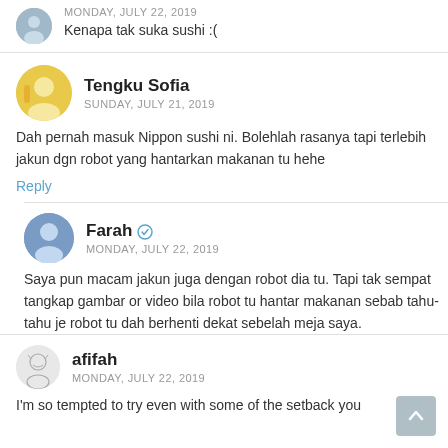MONDAY, JULY 22, 2019
Kenapa tak suka sushi :(
Tengku Sofia
SUNDAY, JULY 21, 2019
Dah pernah masuk Nippon sushi ni. Bolehlah rasanya tapi terlebih jakun dgn robot yang hantarkan makanan tu hehe
Reply
Farah ✓
MONDAY, JULY 22, 2019
Saya pun macam jakun juga dengan robot dia tu. Tapi tak sempat tangkap gambar or video bila robot tu hantar makanan sebab tahu-tahu je robot tu dah berhenti dekat sebelah meja saya.
afifah
MONDAY, JULY 22, 2019
I'm so tempted to try even with some of the setback you